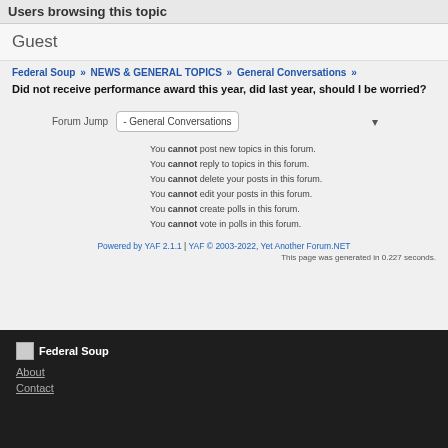Users browsing this topic
Guest
Federal Soup » NEWS & GENERAL TOPICS » General Conversations »
Did not receive performance award this year, did last year, should I be worried?
Forum Jump - General Conversations
You cannot post new topics in this forum.
You cannot reply to topics in this forum.
You cannot delete your posts in this forum.
You cannot edit your posts in this forum.
You cannot create polls in this forum.
You cannot vote in polls in this forum.
Powered by YAF 2.1.1 | YAF © 2003-2022, Yet Another Forum.NET
This page was generated in 0.227 seconds.
Federal Soup
About
Contact